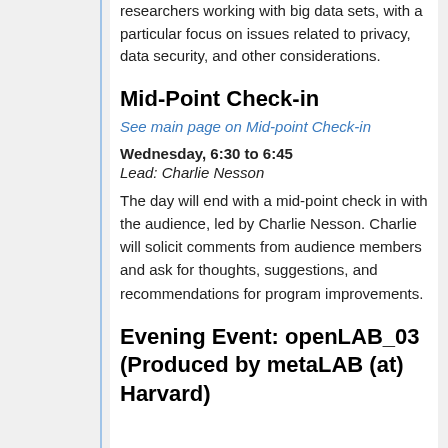researchers working with big data sets, with a particular focus on issues related to privacy, data security, and other considerations.
Mid-Point Check-in
See main page on Mid-point Check-in
Wednesday, 6:30 to 6:45
Lead: Charlie Nesson
The day will end with a mid-point check in with the audience, led by Charlie Nesson. Charlie will solicit comments from audience members and ask for thoughts, suggestions, and recommendations for program improvements.
Evening Event: openLAB_03 (Produced by metaLAB (at) Harvard)